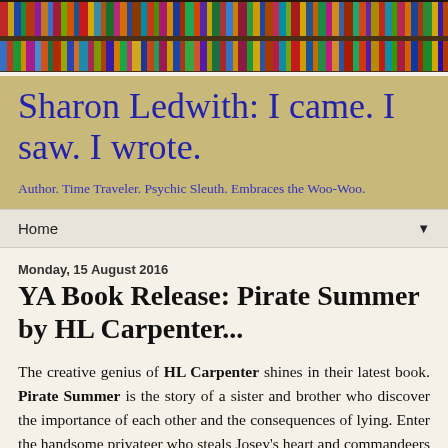[Figure (photo): Colorful bookshelf photo used as blog header background image]
Sharon Ledwith: I came. I saw. I wrote.
Author. Time Traveler. Psychic Sleuth. Embraces the Woo-Woo.
Home ▼
Monday, 15 August 2016
YA Book Release: Pirate Summer by HL Carpenter...
The creative genius of HL Carpenter shines in their latest book. Pirate Summer is the story of a sister and brother who discover the importance of each other and the consequences of lying. Enter the handsome privateer who steals Josey's heart and commandeers her on the adventure of her life and you now have the perfect summer read for all ages.